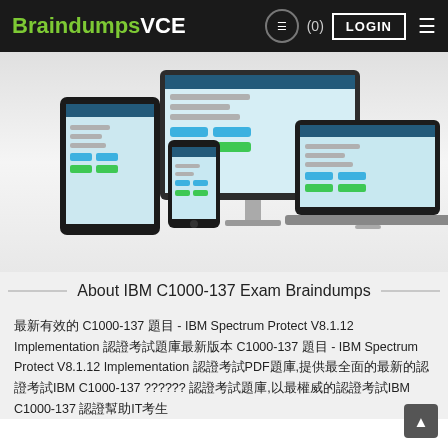BraindumpsVCE (0) LOGIN
[Figure (screenshot): Hero image showing BraindumpsVCE software running on desktop monitor, laptop, tablet, and smartphone devices]
About IBM C1000-137 Exam Braindumps
最新有效的 C1000-137 题目 - IBM Spectrum Protect V8.1.12 Implementation 认证考试题库最新版本 C1000-137 题目 - IBM Spectrum Protect V8.1.12 Implementation 认证考试PDF题库,提供最全面的最新的认证考试IBM C1000-137 ?????? 认证考试题库,以最权威的认证考试IBM C1000-137 认证帮助IT考生